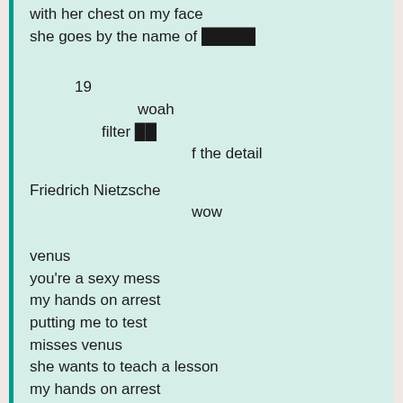with her chest on my face
she goes by the name of 🟦🟦🟦🟦
19
woah
filter 🟦🟦
f the detail
Friedrich Nietzsche
wow
venus
you're a sexy mess
my hands on arrest
putting me to test
misses venus
she wants to teach a lesson
my hands on arrest
with her chest on my face
okay girl 1:1